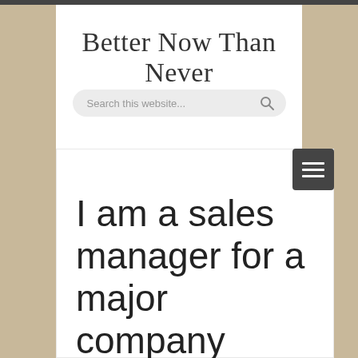Better Now Than Never
[Figure (screenshot): Search bar with placeholder text 'Search this website...' and a magnifying glass icon, styled with rounded corners on a light gray background]
[Figure (screenshot): Hamburger menu button (three horizontal lines) on a dark gray/charcoal rounded square background]
I am a sales manager for a major company
icanma
August 30, 2020
Love, Uncategorized